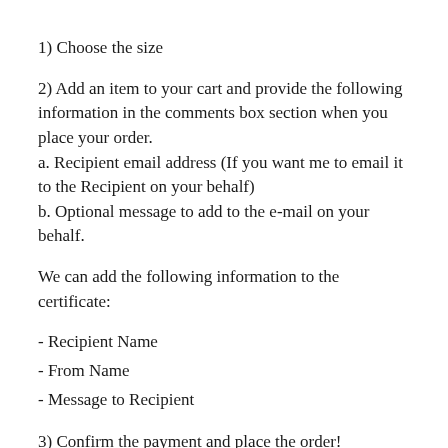1) Choose the size
2) Add an item to your cart and provide the following information in the comments box section when you place your order.
a. Recipient email address (If you want me to email it to the Recipient on your behalf)
b. Optional message to add to the e-mail on your behalf.
We can add the following information to the certificate:
- Recipient Name
- From Name
- Message to Recipient
3) Confirm the payment and place the order!